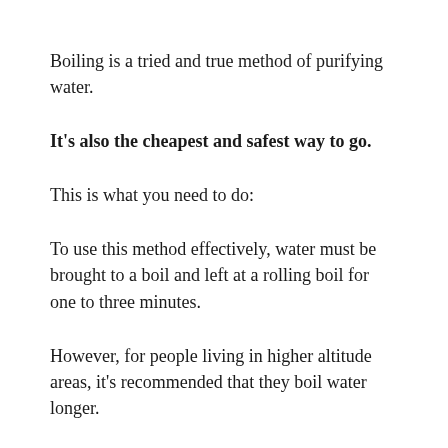Boiling is a tried and true method of purifying water.
It's also the cheapest and safest way to go.
This is what you need to do:
To use this method effectively, water must be brought to a boil and left at a rolling boil for one to three minutes.
However, for people living in higher altitude areas, it's recommended that they boil water longer.
This is because water boils at lower temperatures in higher altitudes.
Before drinking, boiled water should be covered and left to